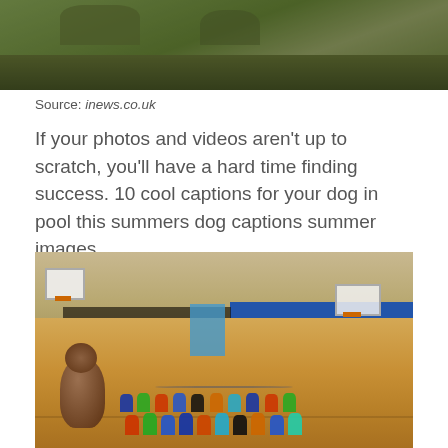[Figure (photo): Partial top portion of a photo showing grassy/outdoor scene with green and brown tones]
Source: inews.co.uk
If your photos and videos aren't up to scratch, you'll have a hard time finding success. 10 cool captions for your dog in pool this summers dog captions summer images.
[Figure (photo): Indoor gymnasium with children sitting on the floor, a large bear mascot costume visible on the left, basketball hoops, blue wall panels, and a wood floor]